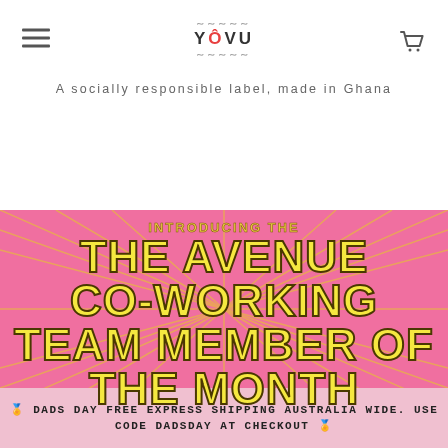YOVU — A socially responsible label, made in Ghana
[Figure (illustration): Pink promotional banner with starburst lines radiating from center. Yellow bold text reads: INTRODUCING THE / THE AVENUE CO-WORKING TEAM MEMBER OF THE MONTH]
🌟 DADS DAY FREE EXPRESS SHIPPING AUSTRALIA WIDE. USE CODE DADSDAY AT CHECKOUT 🌟